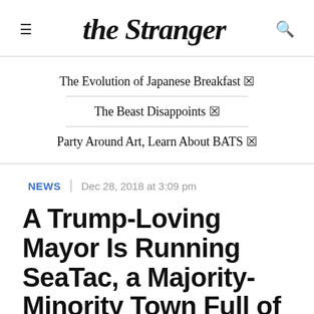the Stranger
The Evolution of Japanese Breakfast 🔗
The Beast Disappoints 🔗
Party Around Art, Learn About BATS 🔗
NEWS | Dec 28, 2018 at 3:09 pm
A Trump-Loving Mayor Is Running SeaTac, a Majority-Minority Town Full of